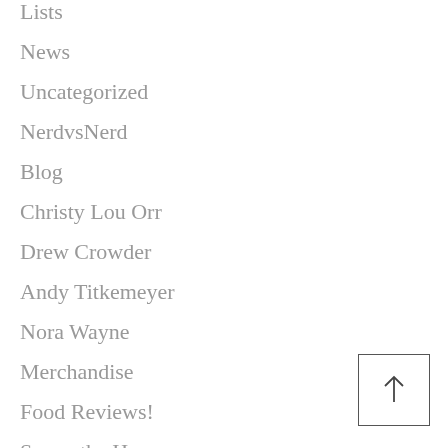Lists
News
Uncategorized
NerdvsNerd
Blog
Christy Lou Orr
Drew Crowder
Andy Titkemeyer
Nora Wayne
Merchandise
Food Reviews!
Samantha Harvey
[Figure (other): Back to top arrow button — a square box with an upward arrow inside]